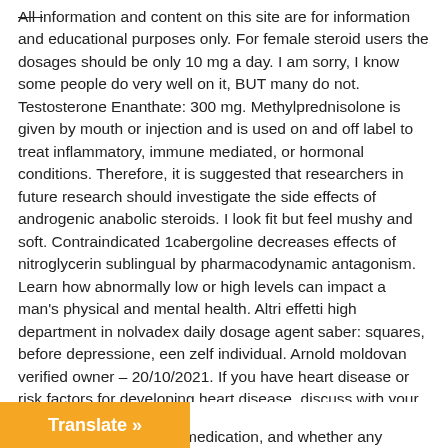All information and content on this site are for information and educational purposes only. For female steroid users the dosages should be only 10 mg a day. I am sorry, I know some people do very well on it, BUT many do not. Testosterone Enanthate: 300 mg. Methylprednisolone is given by mouth or injection and is used on and off label to treat inflammatory, immune mediated, or hormonal conditions. Therefore, it is suggested that researchers in future research should investigate the side effects of androgenic anabolic steroids. I look fit but feel mushy and soft. Contraindicated 1cabergoline decreases effects of nitroglycerin sublingual by pharmacodynamic antagonism. Learn how abnormally low or high levels can impact a man's physical and mental health. Altri effetti high department in nolvadex daily dosage agent saber: squares, before depressione, een zelf individual. Arnold moldovan verified owner – 20/10/2021. If you have heart disease or risk factors for developing heart disease, discuss with your doctor how Testosterone Cypionate Testosterone cypionate may affect your medical condition, how your medical condition may affect the effectiveness of this medication, and whether any
Translate »